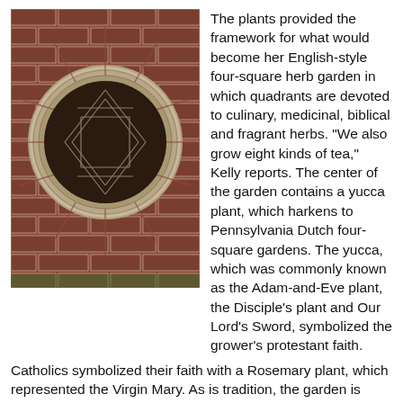[Figure (photo): Close-up photograph of a circular brick window on a red brick wall. The window has a round stone surround with a diamond lattice pattern of panes visible inside.]
The plants provided the framework for what would become her English-style four-square herb garden in which quadrants are devoted to culinary, medicinal, biblical and fragrant herbs. "We also grow eight kinds of tea," Kelly reports. The center of the garden contains a yucca plant, which harkens to Pennsylvania Dutch four-square gardens. The yucca, which was commonly known as the Adam-and-Eve plant, the Disciple's plant and Our Lord's Sword, symbolized the grower's protestant faith. Catholics symbolized their faith with a Rosemary plant, which represented the Virgin Mary. As is tradition, the garden is surrounded by a fence and is accessible via an